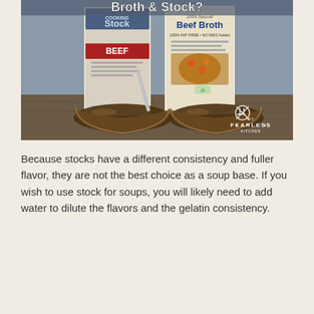[Figure (photo): Photo of two boxes of beef products side by side — a 'Cooking Stock BEEF' carton on the left and a '100% Natural Beef Broth 100% Fat Free No MSG Added' carton on the right — each with a glass bowl of dark brown liquid in front of them, placed on a wooden surface. A watermark reads 'MY FEARLESS KITCHEN' in the lower right corner. Above the image is text reading 'Broth & Stock?']
Because stocks have a different consistency and fuller flavor, they are not the best choice as a soup base. If you wish to use stock for soups, you will likely need to add water to dilute the flavors and the gelatin consistency.